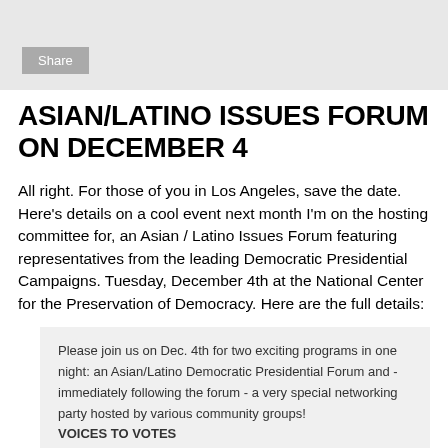Share
ASIAN/LATINO ISSUES FORUM ON DECEMBER 4
All right. For those of you in Los Angeles, save the date. Here's details on a cool event next month I'm on the hosting committee for, an Asian / Latino Issues Forum featuring representatives from the leading Democratic Presidential Campaigns. Tuesday, December 4th at the National Center for the Preservation of Democracy. Here are the full details:
Please join us on Dec. 4th for two exciting programs in one night: an Asian/Latino Democratic Presidential Forum and - immediately following the forum - a very special networking party hosted by various community groups!
VOICES TO VOTES